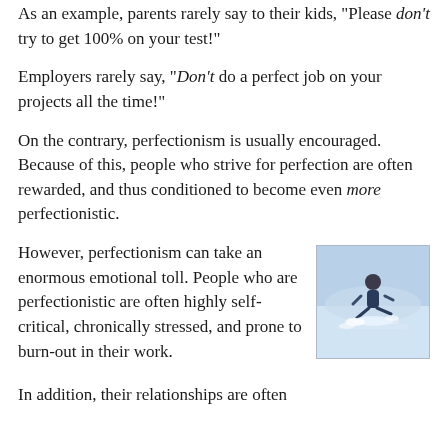As an example, parents rarely say to their kids, "Please don't try to get 100% on your test!"
Employers rarely say, "Don't do a perfect job on your projects all the time!"
On the contrary, perfectionism is usually encouraged. Because of this, people who strive for perfection are often rewarded, and thus conditioned to become even more perfectionistic.
[Figure (photo): A person snowboarding or skiing in snowy conditions, action shot with snow spray]
However, perfectionism can take an enormous emotional toll. People who are perfectionistic are often highly self-critical, chronically stressed, and prone to burn-out in their work.
In addition, their relationships are often